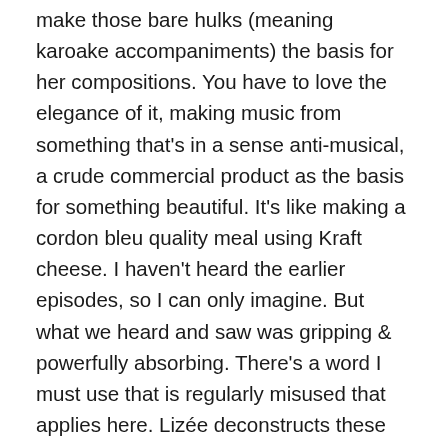make those bare hulks (meaning karoake accompaniments) the basis for her compositions. You have to love the elegance of it, making music from something that's in a sense anti-musical, a crude commercial product as the basis for something beautiful. It's like making a cordon bleu quality meal using Kraft cheese. I haven't heard the earlier episodes, so I can only imagine. But what we heard and saw was gripping & powerfully absorbing. There's a word I must use that is regularly misused that applies here. Lizée deconstructs these pieces into their constituent parts: or at least some of them. At times we're still hearing something sufficiently recognizable to be able to laugh about it.  At least that's how the first song (the one from Grease) came across, with plenty of Olivia Newton-John & John Travolta smirking & posing, even as the song wasn't really allowed to play. We were being teased at this point, and it would